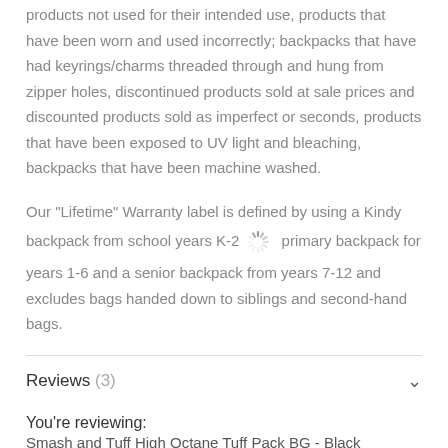products not used for their intended use, products that have been worn and used incorrectly; backpacks that have had keyrings/charms threaded through and hung from zipper holes, discontinued products sold at sale prices and discounted products sold as imperfect or seconds, products that have been exposed to UV light and bleaching, backpacks that have been machine washed.
Our "Lifetime" Warranty label is defined by using a Kindy backpack from school years K-2, a primary backpack for years 1-6 and a senior backpack from years 7-12 and excludes bags handed down to siblings and second-hand bags.
Reviews (3)
You're reviewing:
Smash and Tuff High Octane Tuff Pack BG - Black